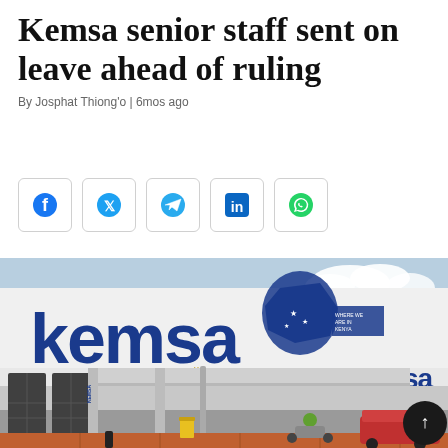Kemsa senior staff sent on leave ahead of ruling
By Josphat Thiong'o | 6mos ago
[Figure (infographic): Social media share buttons: Facebook, Twitter, Telegram, LinkedIn, WhatsApp]
[Figure (photo): Exterior photo of the KEMSA (Kenya Medical Supplies Authority) building showing the large KEMSA logo, reception area, and a motorcycle in the foreground.]